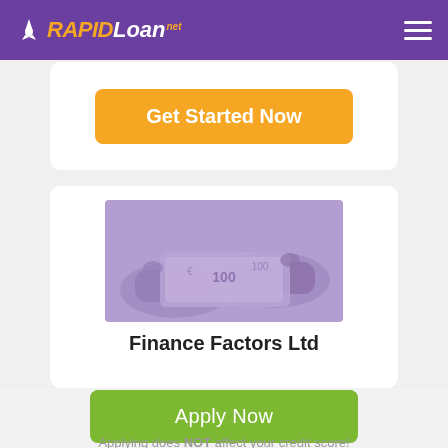RAPID Loan .net
[Figure (screenshot): Orange 'Get Started Now' button on white card]
[Figure (photo): Hands holding currency notes with purple overlay tint]
Finance Factors Ltd
[Figure (screenshot): Green 'Apply Now' button]
Applying does NOT affect your credit score! No credit check to apply.